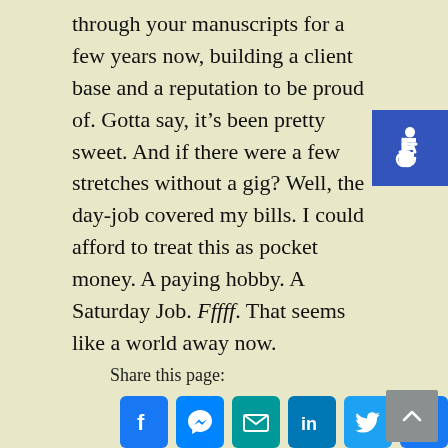through your manuscripts for a few years now, building a client base and a reputation to be proud of. Gotta say, it’s been pretty sweet. And if there were a few stretches without a gig? Well, the day-job covered my bills. I could afford to treat this as pocket money. A paying hobby. A Saturday Job. Fffff. That seems like a world away now.
[Figure (illustration): Blue accessibility icon (wheelchair symbol) in top-right corner]
Read more
Share this page:
[Figure (infographic): Row of social sharing icons: Facebook, Messenger, Email, LinkedIn, Twitter, More]